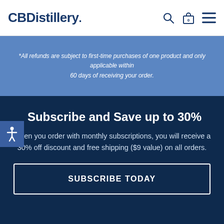CBDistillery.
*All refunds are subject to first-time purchases of one product and only applicable within 60 days of receiving your order.
Subscribe and Save up to 30%
When you order with monthly subscriptions, you will receive a 30% off discount and free shipping ($9 value) on all orders.
SUBSCRIBE TODAY